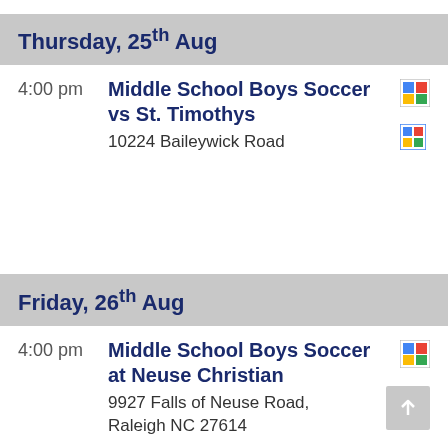Thursday, 25th Aug
4:00 pm   Middle School Boys Soccer vs St. Timothys
10224 Baileywick Road
Friday, 26th Aug
4:00 pm   Middle School Boys Soccer at Neuse Christian
9927 Falls of Neuse Road, Raleigh NC 27614